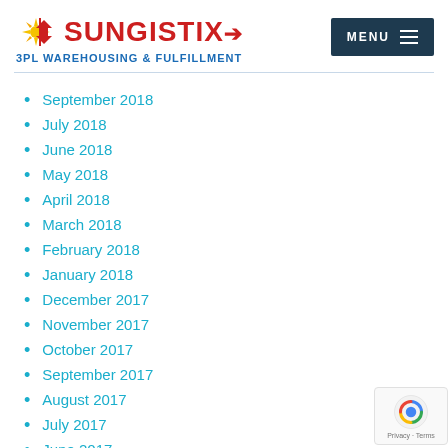SUNGISTIX 3PL WAREHOUSING & FULFILLMENT
September 2018
July 2018
June 2018
May 2018
April 2018
March 2018
February 2018
January 2018
December 2017
November 2017
October 2017
September 2017
August 2017
July 2017
June 2017